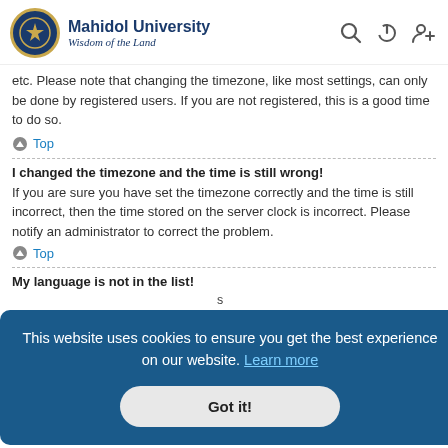Mahidol University – Wisdom of the Land
etc. Please note that changing the timezone, like most settings, can only be done by registered users. If you are not registered, this is a good time to do so.
Top
I changed the timezone and the time is still wrong!
If you are sure you have set the timezone correctly and the time is still incorrect, then the time stored on the server clock is incorrect. Please notify an administrator to correct the problem.
Top
My language is not in the list!
This website uses cookies to ensure you get the best experience on our website. Learn more
Got it!
What are the images next to my username?
They are icons which are...